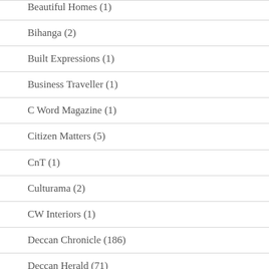Beautiful Homes (1)
Bihanga (2)
Built Expressions (1)
Business Traveller (1)
C Word Magazine (1)
Citizen Matters (5)
CnT (1)
Culturama (2)
CW Interiors (1)
Deccan Chronicle (186)
Deccan Herald (71)